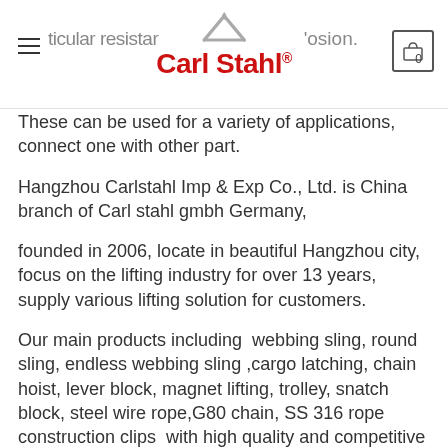Carl Stahl® (logo with navigation)
These can be used for a variety of applications, connect one with other part.
Hangzhou Carlstahl Imp & Exp Co., Ltd. is China branch of Carl stahl gmbh Germany,
founded in 2006, locate in beautiful Hangzhou city, focus on the lifting industry for over 13 years, supply various lifting solution for customers.
Our main products including  webbing sling, round sling, endless webbing sling ,cargo latching, chain hoist, lever block, magnet lifting, trolley, snatch block, steel wire rope,G80 chain, SS 316 rope construction clips  with high quality and competitive price. All of